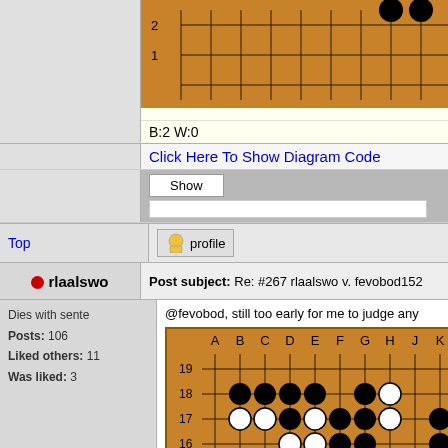[Figure (other): Go board showing rows 1 and 2 with black stones in upper right area, orange board background with grid lines]
B:2 W:0
Click Here To Show Diagram Code
Show
Top
rlaalswo
Post subject: Re: #267 rlaalswo v. fevobod152
Dies with sente
Posts: 106
Liked others: 11
Was liked: 3
@fevobod, still too early for me to judge any
[Figure (other): Go board showing rows 15-19 with columns A-K visible, with black and white stones placed in a game position]